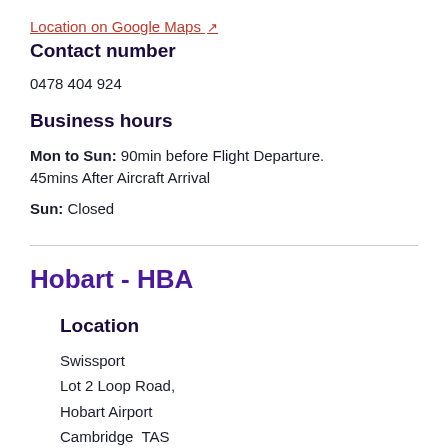Location on Google Maps ↗
Contact number
0478 404 924
Business hours
Mon to Sun: 90min before Flight Departure. 45mins After Aircraft Arrival
Sun: Closed
Hobart - HBA
Location
Swissport
Lot 2 Loop Road,
Hobart Airport
Cambridge  TAS